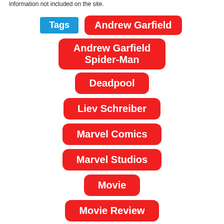information not included on the site.
Tags: Andrew Garfield, Andrew Garfield Spider-Man, Deadpool, Liev Schreiber, Marvel Comics, Marvel Studios, Movie, Movie Review, Movies, New York, Nic Cage, Peter Parker, Sony, Sony Pictures, Spider-Man, Stan Lee, Spider-Man (partially visible)